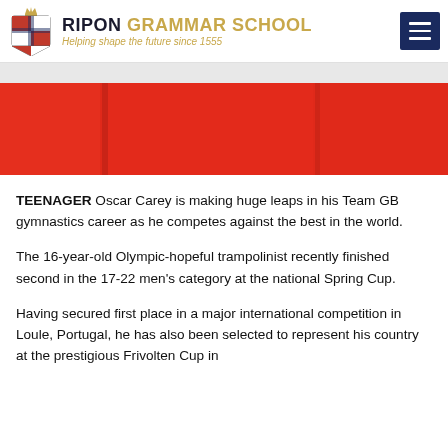RIPON GRAMMAR SCHOOL — Helping shape the future since 1555
[Figure (photo): Red fabric or banner close-up, partially cropped, showing a bright red surface with a lighter grey/white strip at top]
TEENAGER Oscar Carey is making huge leaps in his Team GB gymnastics career as he competes against the best in the world.
The 16-year-old Olympic-hopeful trampolinist recently finished second in the 17-22 men's category at the national Spring Cup.
Having secured first place in a major international competition in Loule, Portugal, he has also been selected to represent his country at the prestigious Frivolten Cup in